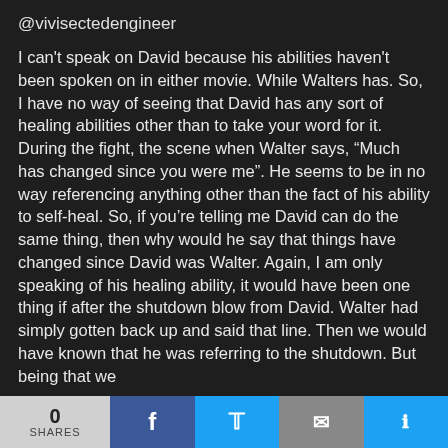@vivisectedengineer
I can't speak on David because his abilities haven't been spoken on in either movie. While Walters has. So, I have no way of seeing that David has any sort of healing abilities other than to take your word for it. During the fight, the scene when Walter says, “Much has changed since you were me”. He seems to be in no way referencing anything other than the fact of his ability to self-heal. So, if you’re telling me David can do the same thing, then why would he say that things have changed since David was Walter. Again, I am only speaking of his healing ability, it would have been one thing if after the shutdown blow from David. Walter had simply gotten back up and said that line. Then we would have known that he was referring to the shutdown. But being that we
0 SHARES | Facebook | Twitter | Email | Share